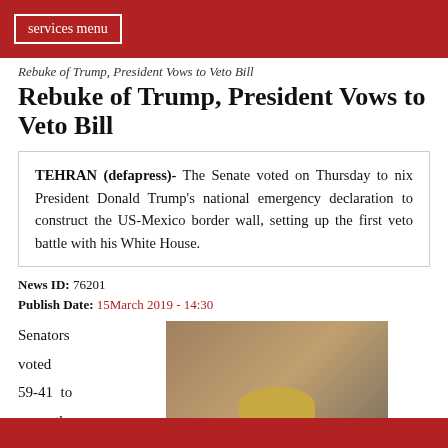services menu
Rebuke of Trump, President Vows to Veto Bill
TEHRAN (defapress)- The Senate voted on Thursday to nix President Donald Trump's national emergency declaration to construct the US-Mexico border wall, setting up the first veto battle with his White House.
News ID: 76201
Publish Date: 15March 2019 - 14:30
Senators voted 59-41 to pass the
[Figure (photo): Photo of President Donald Trump in a suit with red tie, pointing with one hand, with a microphone visible in the foreground.]